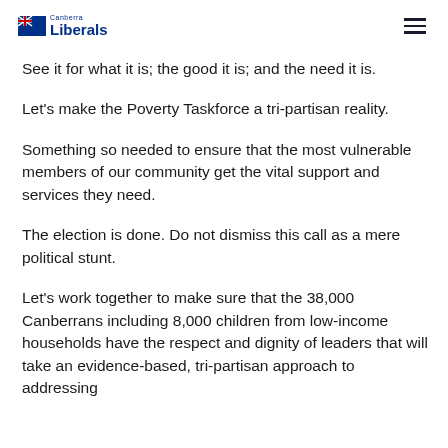Canberra Liberals
See it for what it is; the good it is; and the need it is.
Let's make the Poverty Taskforce a tri-partisan reality.
Something so needed to ensure that the most vulnerable members of our community get the vital support and services they need.
The election is done. Do not dismiss this call as a mere political stunt.
Let's work together to make sure that the 38,000 Canberrans including 8,000 children from low-income households have the respect and dignity of leaders that will take an evidence-based, tri-partisan approach to addressing the…